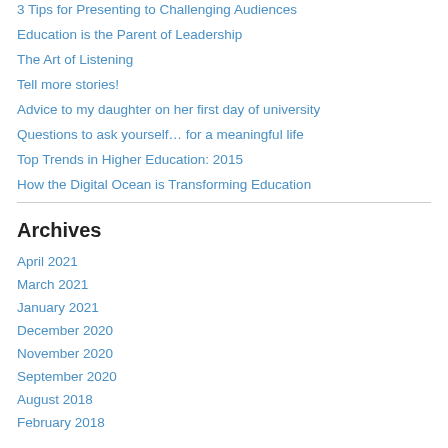3 Tips for Presenting to Challenging Audiences
Education is the Parent of Leadership
The Art of Listening
Tell more stories!
Advice to my daughter on her first day of university
Questions to ask yourself… for a meaningful life
Top Trends in Higher Education: 2015
How the Digital Ocean is Transforming Education
Archives
April 2021
March 2021
January 2021
December 2020
November 2020
September 2020
August 2018
February 2018